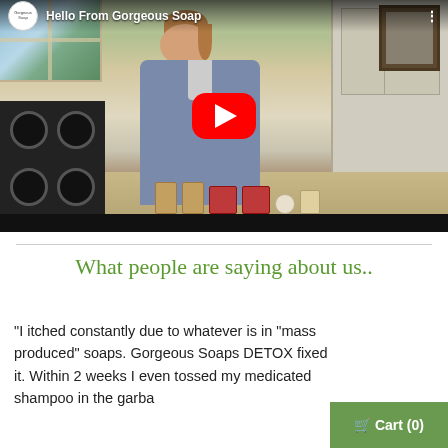[Figure (screenshot): YouTube video thumbnail showing a woman in a gray blazer standing in a kitchen with soap products on the counter. Video title reads 'Hello From Gorgeous Soap'. Red YouTube play button is visible in the center.]
What people are saying about us..
"I itched constantly due to whatever is in "mass produced" soaps. Gorgeous Soaps DETOX fixed it. Within 2 weeks I even tossed my medicated shampoo in the garba
[Figure (screenshot): Green cart button showing shopping cart icon and 'Cart (0)']